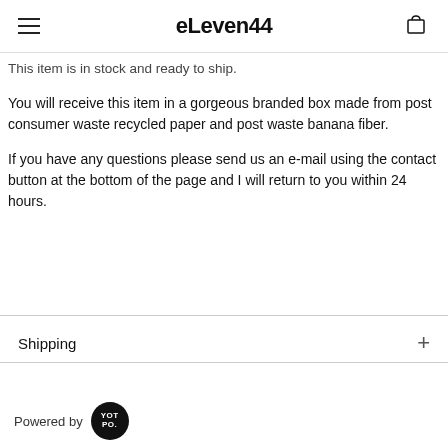eleven44
This item is in stock and ready to ship.
You will receive this item in a gorgeous branded box made from post consumer waste recycled paper and post waste banana fiber.
If you have any questions please send us an e-mail using the contact button at the bottom of the page and I will return to you within 24 hours.
Shipping
Powered by YOTPO.